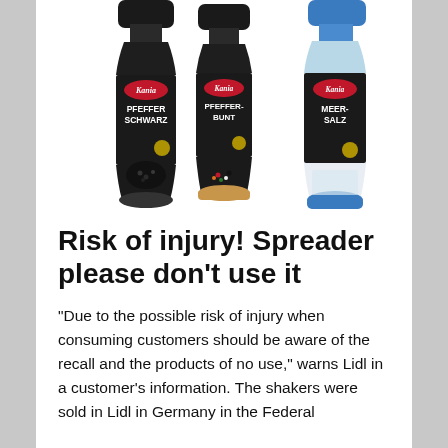[Figure (photo): Three Kania brand spice grinder bottles: Pfeffer Schwarz (black pepper), Pfeffer Bunt (mixed pepper), and Meer-Salz (sea salt), with black caps and glass bodies on colored bases.]
Risk of injury! Spreader please don't use it
“Due to the possible risk of injury when consuming customers should be aware of the recall and the products of no use,” warns Lidl in a customer’s information. The shakers were sold in Lidl in Germany in the Federal